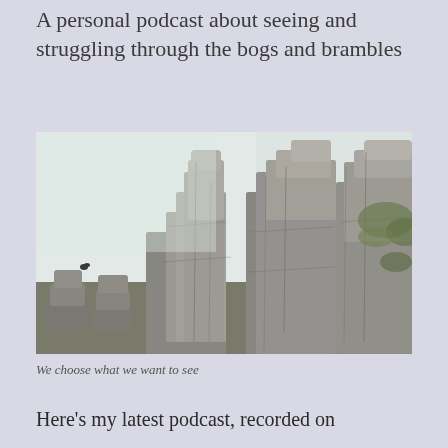A personal podcast about seeing and struggling through the bogs and brambles
[Figure (photo): Photograph of rugged granite tor rock formations stacked in irregular columns against a pale overcast sky, with patches of green moss and grass visible on the right side. Rock formations are jagged and layered, typical of moorland tors.]
We choose what we want to see
Here's my latest podcast, recorded on